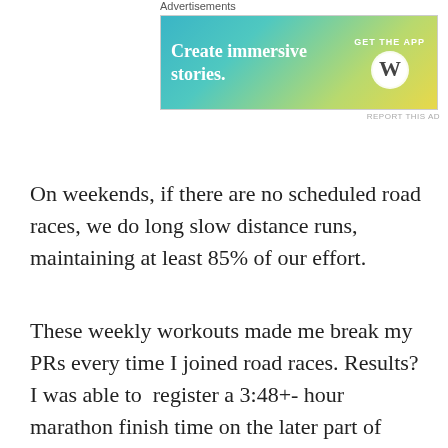[Figure (other): WordPress advertisement banner: 'Create immersive stories. GET THE APP' with WordPress logo on a teal-to-yellow gradient background.]
On weekends, if there are no scheduled road races, we do long slow distance runs, maintaining at least 85% of our effort.
These weekly workouts made me break my PRs every time I joined road races. Results? I was able to  register a 3:48+- hour marathon finish time on the later part of 2008. And later in 2009, I have registered another 3:58+-hour finish at the Subic International Marathon. These best times in my Marathon Races were the results of the consistent attendance to the BR “Speed” Training at the Oval Track.